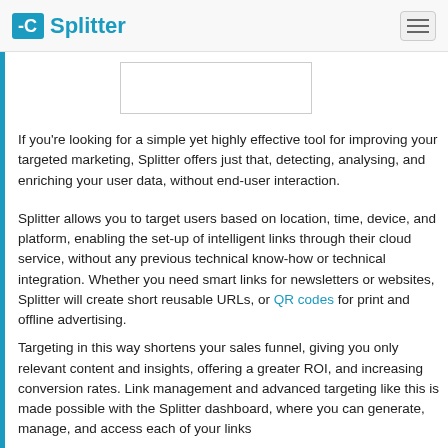Splitter
[Figure (other): Placeholder image area (white rectangle with border)]
If you're looking for a simple yet highly effective tool for improving your targeted marketing, Splitter offers just that, detecting, analysing, and enriching your user data, without end-user interaction.
Splitter allows you to target users based on location, time, device, and platform, enabling the set-up of intelligent links through their cloud service, without any previous technical know-how or technical integration. Whether you need smart links for newsletters or websites, Splitter will create short reusable URLs, or QR codes for print and offline advertising.
Targeting in this way shortens your sales funnel, giving you only relevant content and insights, offering a greater ROI, and increasing conversion rates. Link management and advanced targeting like this is made possible with the Splitter dashboard, where you can generate, manage, and access each of your links